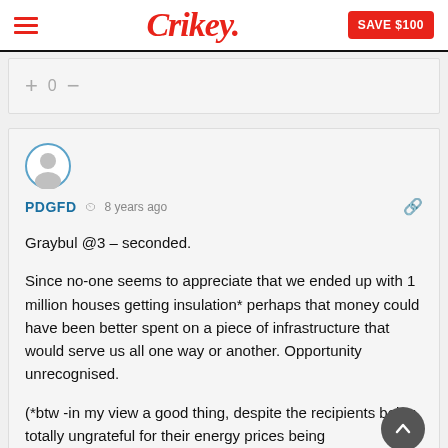Crikey. SAVE $100
+ 0 −
PDGFD  8 years ago
Graybul @3 – seconded.

Since no-one seems to appreciate that we ended up with 1 million houses getting insulation* perhaps that money could have been better spent on a piece of infrastructure that would serve us all one way or another. Opportunity unrecognised.

(*btw -in my view a good thing, despite the recipients being totally ungrateful for their energy prices being